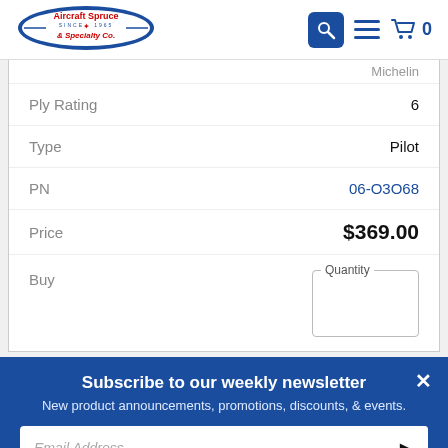[Figure (logo): Aircraft Spruce & Specialty Co. logo with red and blue oval aircraft design]
| Property | Value |
| --- | --- |
| Ply Rating | 6 |
| Type | Pilot |
| PN | 06-O3O68 |
| Price | $369.00 |
| Buy | Quantity |
Subscribe to our weekly newsletter
New product announcements, promotions, discounts, & events.
Email Address